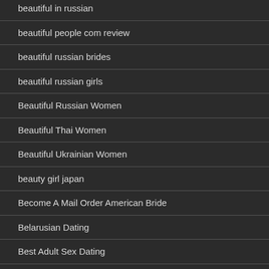beautiful in russian
beautiful people com review
beautiful russian brides
beautiful russian girls
Beautiful Russian Women
Beautiful Thai Women
Beautiful Ukrainian Women
beauty girl japan
Become A Mail Order American Bride
Belarusian Dating
Best Adult Sex Dating
best adult sites